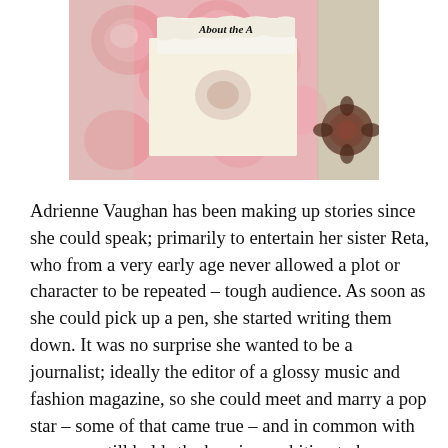[Figure (photo): A decorative photo showing a scrapbook-style card with pink floral background (roses), a cream/ivory inset rectangle with a small floral image, and a torn paper label at the top reading 'About the A...' (partially cropped). A circular dark stamp/flower motif is visible on the right side of the background.]
Adrienne Vaughan has been making up stories since she could speak; primarily to entertain her sister Reta, who from a very early age never allowed a plot or character to be repeated – tough audience. As soon as she could pick up a pen, she started writing them down. It was no surprise she wanted to be a journalist; ideally the editor of a glossy music and fashion magazine, so she could meet and marry a pop star – some of that came true – and in common with so many, still holds the burning ambition to be a 'Bond Girl'! She now runs a busy PR practice and writes poems, short stories and ideas for books, in her